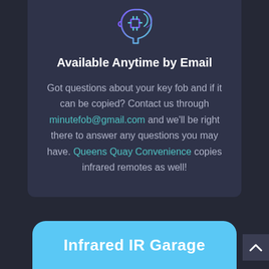[Figure (illustration): Icon of a human head profile with a microchip/robot element, purple and teal gradient lines on dark background]
Available Anytime by Email
Got questions about your key fob and if it can be copied? Contact us through minutefob@gmail.com and we'll be right there to answer any questions you may have. Queens Quay Convenience copies infrared remotes as well!
Infrared IR Garage